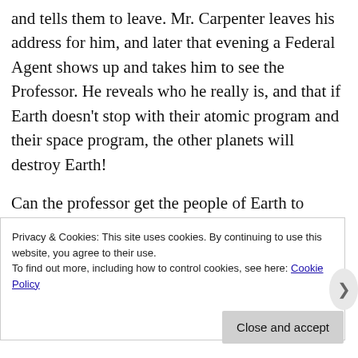and tells them to leave. Mr. Carpenter leaves his address for him, and later that evening a Federal Agent shows up and takes him to see the Professor. He reveals who he really is, and that if Earth doesn't stop with their atomic program and their space program, the other planets will destroy Earth!
Can the professor get the people of Earth to listen? Or will Klaatu and Gort incinerate the planet!
Privacy & Cookies: This site uses cookies. By continuing to use this website, you agree to their use.
To find out more, including how to control cookies, see here: Cookie Policy